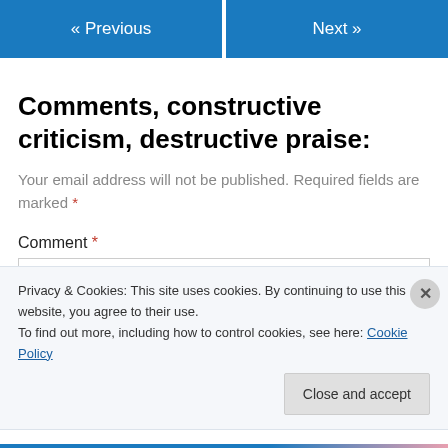« Previous   Next »
Comments, constructive criticism, destructive praise:
Your email address will not be published. Required fields are marked *
Comment *
Privacy & Cookies: This site uses cookies. By continuing to use this website, you agree to their use.
To find out more, including how to control cookies, see here: Cookie Policy
Close and accept